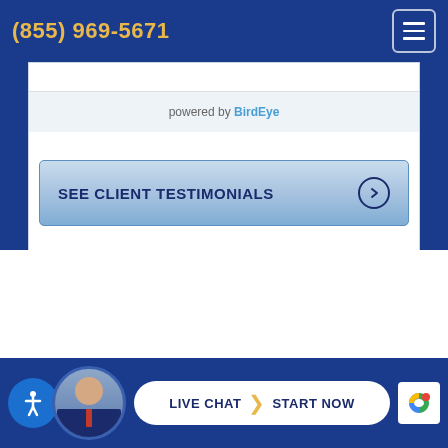(855) 969-5671
powered by BirdEye
SEE CLIENT TESTIMONIALS
[Figure (screenshot): Live chat bar at bottom with accessibility icon, attorney avatar, and Live Chat | Start Now button]
LIVE CHAT  START NOW